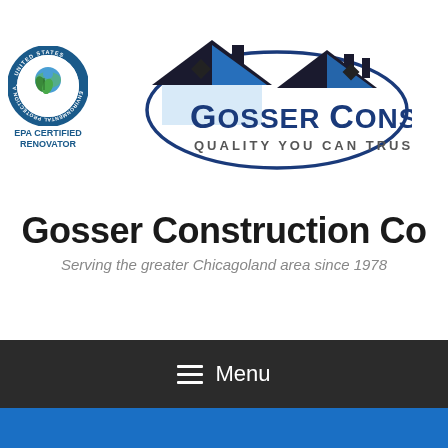[Figure (logo): EPA Certified Renovator seal (circular United States Environmental Protection Agency logo) alongside Gosser Construction logo showing house roofline silhouette with blue tones and text 'GOSSER CONSTRUCTION QUALITY YOU CAN TRUST']
Gosser Construction Co
Serving the greater Chicagoland area since 1978
≡ Menu